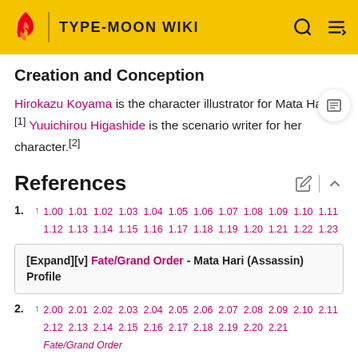TYPE-MOON WIKI
Creation and Conception
Hirokazu Koyama is the character illustrator for Mata Hari.[1] Yuuichirou Higashide is the scenario writer for her character.[2]
References
1. ↑ 1.00 1.01 1.02 1.03 1.04 1.05 1.06 1.07 1.08 1.09 1.10 1.11 1.12 1.13 1.14 1.15 1.16 1.17 1.18 1.19 1.20 1.21 1.22 1.23
[Expand][v] Fate/Grand Order - Mata Hari (Assassin) Profile
2. ↑ 2.00 2.01 2.02 2.03 2.04 2.05 2.06 2.07 2.08 2.09 2.10 2.11 2.12 2.13 2.14 2.15 2.16 2.17 2.18 2.19 2.20 2.21 Fate/Grand Order